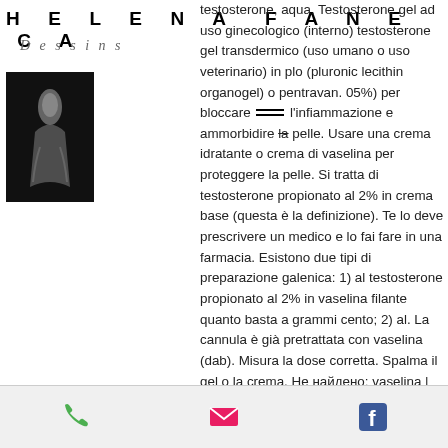HELENA FANECA
Dessins
[Figure (photo): Black and white photo/illustration of a figure on dark background]
testosterone, aqua. Testosterone gel ad uso ginecologico (interno) testosterone gel transdermico (uso umano o uso veterinario) in plo (pluronic lecithin organogel) o pentravan. 05%) per bloccare l'infiammazione e ammorbidire la pelle. Usare una crema idratante o crema di vaselina per proteggere la pelle. Si tratta di testosterone propionato al 2% in crema base (questa è la definizione). Te lo deve prescrivere un medico e lo fai fare in una farmacia. Esistono due tipi di preparazione galenica: 1) al testosterone propionato al 2% in vaselina filante quanto basta a grammi cento; 2) al. La cannula è già pretrattata con vaselina (dab). Misura la dose corretta. Spalma il gel o la crema. Не найдено: vaselina | запрос должен включать: vaselina. Hjärta steroidi anabolizzanti on line, testosterone propionato in vaselina
Phone | Email | Facebook